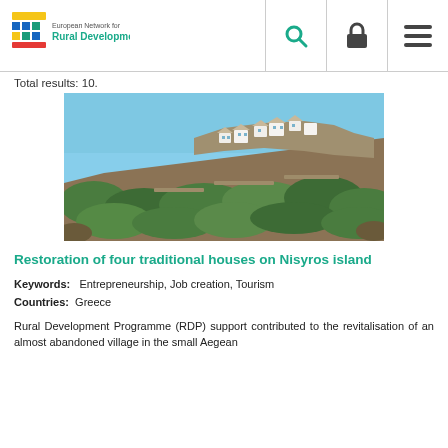European Network for Rural Development
Total results: 10.
[Figure (photo): Photograph of a hillside Greek village with white traditional houses and dense green vegetation, blue sky background — Nisyros island scene.]
Restoration of four traditional houses on Nisyros island
Keywords:   Entrepreneurship, Job creation, Tourism
Countries:  Greece
Rural Development Programme (RDP) support contributed to the revitalisation of an almost abandoned village in the small Aegean